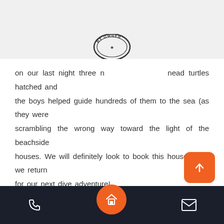[Figure (logo): Circular stamp logo with 'BY OWNER' text]
on our last night three [leatherhead turtles hatched and the boys helped guide hundreds of them to the sea (as they were scrambling the wrong way toward the light of the beachside houses. We will definitely look to book this house when we return for our next dive adventure!
[Figure (photo): Generic user avatar: circular grey icon with silhouette of a person]
by Thomas P N.
5.0  Excellent
Bottom navigation bar with phone, home, and email icons